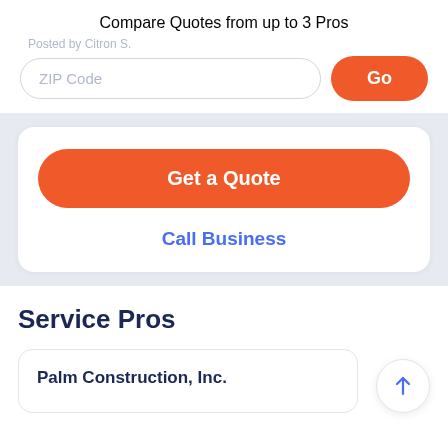Compare Quotes from up to 3 Pros
Posted by Citron S.
ZIP Code
Go
Get a Quote
Call Business
Service Pros
Palm Construction, Inc.